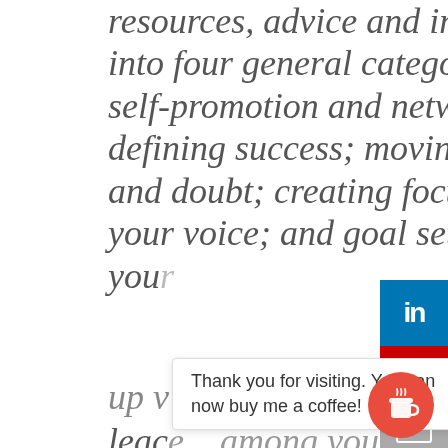an introvert perspective, providing resources, advice and inspiration. Show topics fall into four general categories: * Entrepreneurship: self-promotion and networking; productivity; defining success; moving through fear, uncertainty and doubt; creating focus and intention; finding your voice; and goal setting * Leadership: living your... ng up w... leac... among your peers,
[Figure (other): LinkedIn social share button (blue)]
[Figure (other): YouTube social share button (red)]
[Figure (other): Email/mail social share button (grey)]
Thank you for visiting. You can now buy me a coffee!
[Figure (other): Buy me a coffee circular button with coffee cup icon]